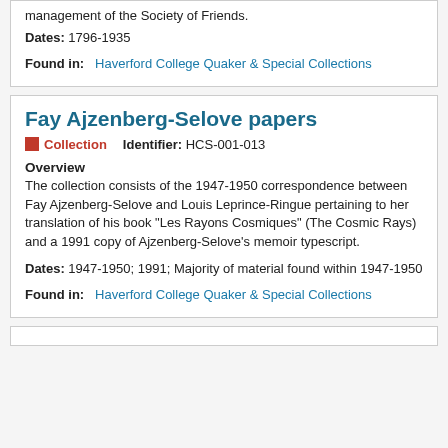management of the Society of Friends.
Dates: 1796-1935
Found in: Haverford College Quaker & Special Collections
Fay Ajzenberg-Selove papers
Collection   Identifier: HCS-001-013
Overview
The collection consists of the 1947-1950 correspondence between Fay Ajzenberg-Selove and Louis Leprince-Ringue pertaining to her translation of his book "Les Rayons Cosmiques" (The Cosmic Rays) and a 1991 copy of Ajzenberg-Selove's memoir typescript.
Dates: 1947-1950; 1991; Majority of material found within 1947-1950
Found in: Haverford College Quaker & Special Collections